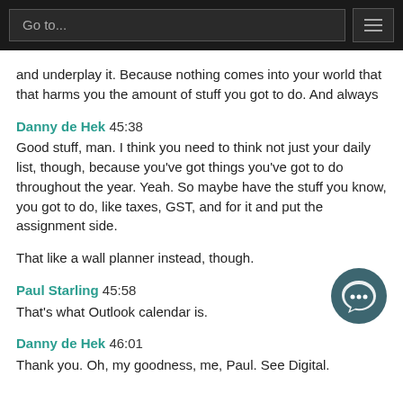Go to...
and underplay it. Because nothing comes into your world that that harms you the amount of stuff you got to do. And always
Danny de Hek 45:38
Good stuff, man. I think you need to think not just your daily list, though, because you've got things you've got to do throughout the year. Yeah. So maybe have the stuff you know, you got to do, like taxes, GST, and for it and put the assignment side.
That like a wall planner instead, though.
Paul Starling 45:58
That's what Outlook calendar is.
Danny de Hek 46:01
Thank you. Oh, my goodness, me, Paul. See Digital.